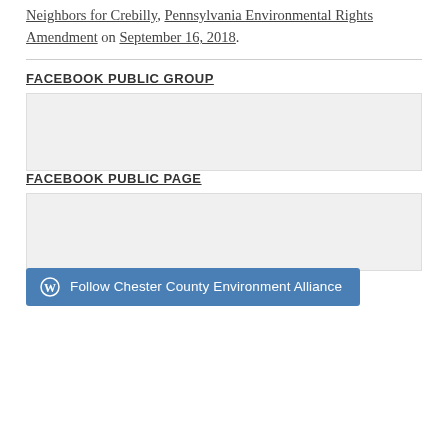This entry was posted in Open Space and tagged development, Neighbors for Crebilly, Pennsylvania Environmental Rights Amendment on September 16, 2018.
FACEBOOK PUBLIC GROUP
FACEBOOK PUBLIC PAGE
Follow Chester County Environment Alliance